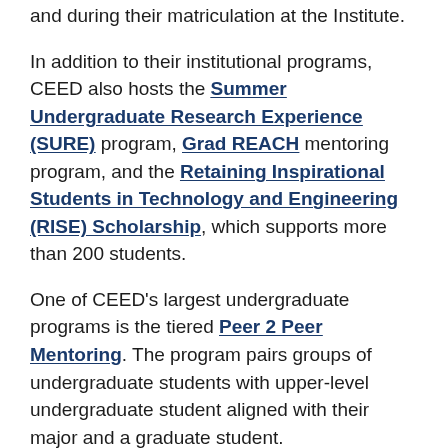and during their matriculation at the Institute.
In addition to their institutional programs, CEED also hosts the Summer Undergraduate Research Experience (SURE) program, Grad REACH mentoring program, and the Retaining Inspirational Students in Technology and Engineering (RISE) Scholarship, which supports more than 200 students.
One of CEED’s largest undergraduate programs is the tiered Peer 2 Peer Mentoring. The program pairs groups of undergraduate students with upper-level undergraduate student aligned with their major and a graduate student.
“Our mentoring approach isn’t just top down, but